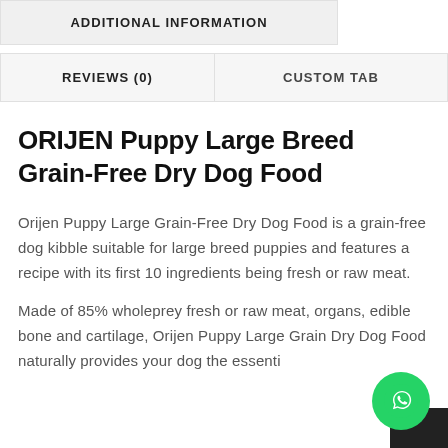ADDITIONAL INFORMATION
REVIEWS (0)
CUSTOM TAB
ORIJEN Puppy Large Breed Grain-Free Dry Dog Food
Orijen Puppy Large Grain-Free Dry Dog Food is a grain-free dog kibble suitable for large breed puppies and features a recipe with its first 10 ingredients being fresh or raw meat.
Made of 85% wholeprey fresh or raw meat, organs, edible bone and cartilage, Orijen Puppy Large Grain Dry Dog Food naturally provides your dog the essenti